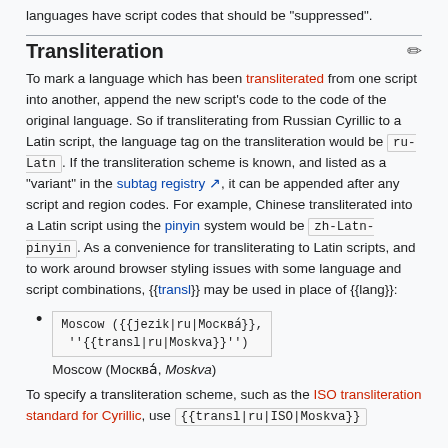languages have script codes that should be "suppressed".
Transliteration
To mark a language which has been transliterated from one script into another, append the new script's code to the code of the original language. So if transliterating from Russian Cyrillic to a Latin script, the language tag on the transliteration would be ru-Latn . If the transliteration scheme is known, and listed as a "variant" in the subtag registry , it can be appended after any script and region codes. For example, Chinese transliterated into a Latin script using the pinyin system would be zh-Latn-pinyin . As a convenience for transliterating to Latin scripts, and to work around browser styling issues with some language and script combinations, {{transl}} may be used in place of {{lang}}:
Moscow ({{jezik|ru|Москва́}}, ''{{transl|ru|Moskva}}'') 
 Moscow (Москва́, Moskva)
To specify a transliteration scheme, such as the ISO transliteration standard for Cyrillic, use {{transl|ru|ISO|Moskva}}